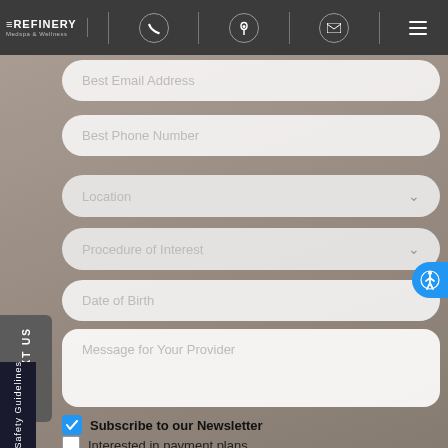[Figure (screenshot): Navigation bar with The Refinery Medspa & Wellness logo, phone icon, location pin icon, email icon, and hamburger menu icon]
Best Email Address
Best Phone Number
Location
Procedure of Interest
Date of Birth
Message for Your Provider
Subscribe to our Newsletter
Interested in payment plans